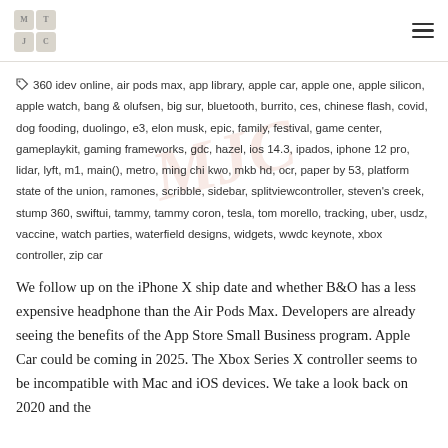MJC logo and hamburger menu
360 idev online, air pods max, app library, apple car, apple one, apple silicon, apple watch, bang & olufsen, big sur, bluetooth, burrito, ces, chinese flash, covid, dog fooding, duolingo, e3, elon musk, epic, family, festival, game center, gameplaykit, gaming frameworks, gdc, hazel, ios 14.3, ipados, iphone 12 pro, lidar, lyft, m1, main(), metro, ming chi kwo, mkb hd, ocr, paper by 53, platform state of the union, ramones, scribble, sidebar, splitviewcontroller, steven's creek, stump 360, swiftui, tammy, tammy coron, tesla, tom morello, tracking, uber, usdz, vaccine, watch parties, waterfield designs, widgets, wwdc keynote, xbox controller, zip car
We follow up on the iPhone X ship date and whether B&O has a less expensive headphone than the Air Pods Max. Developers are already seeing the benefits of the App Store Small Business program. Apple Car could be coming in 2025. The Xbox Series X controller seems to be incompatible with Mac and iOS devices. We take a look back on 2020 and the